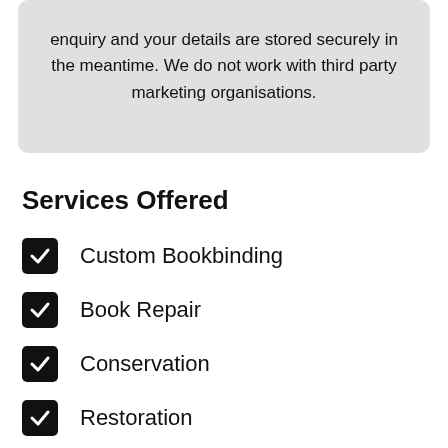enquiry and your details are stored securely in the meantime. We do not work with third party marketing organisations.
Services Offered
Custom Bookbinding
Book Repair
Conservation
Restoration